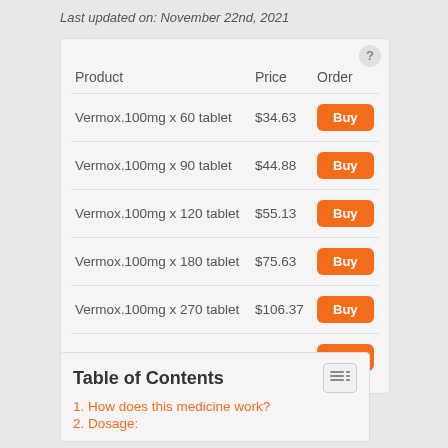Last updated on: November 22nd, 2021
| Product | Price | Order |
| --- | --- | --- |
| Vermox.100mg x 60 tablet | $34.63 | Buy |
| Vermox.100mg x 90 tablet | $44.88 | Buy |
| Vermox.100mg x 120 tablet | $55.13 | Buy |
| Vermox.100mg x 180 tablet | $75.63 | Buy |
| Vermox.100mg x 270 tablet | $106.37 | Buy |
| Vermox.100mg x 360 tablet | $137.12 | Buy |
Table of Contents
1. How does this medicine work?
2. Dosage: